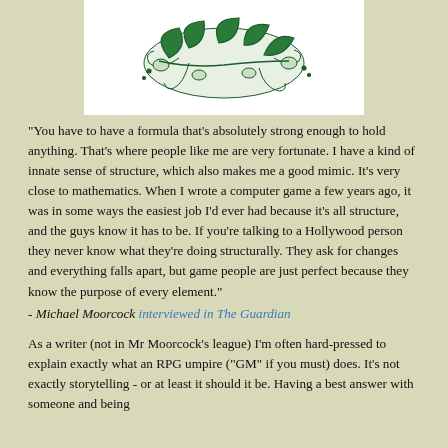[Figure (illustration): Green ink illustration of decorative floral/botanical motif on white background]
"You have to have a formula that's absolutely strong enough to hold anything. That's where people like me are very fortunate. I have a kind of innate sense of structure, which also makes me a good mimic. It's very close to mathematics. When I wrote a computer game a few years ago, it was in some ways the easiest job I'd ever had because it's all structure, and the guys know it has to be. If you're talking to a Hollywood person they never know what they're doing structurally. They ask for changes and everything falls apart, but game people are just perfect because they know the purpose of every element."
- Michael Moorcock interviewed in The Guardian
As a writer (not in Mr Moorcock's league) I'm often hard-pressed to explain exactly what an RPG umpire ("GM" if you must) does. It's not exactly storytelling - or at least it should it be. Having a best answer with someone and being